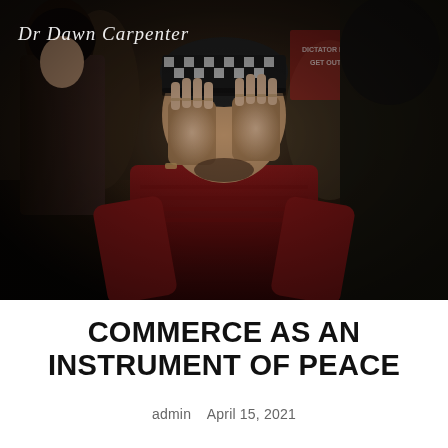[Figure (photo): Protest scene showing a man in a black-and-white patterned hat covering his face with both hands, wearing a dark red shirt. Surrounding crowd at what appears to be a political protest. A sign in the background reads 'DICTATOR ERDOGAN GET OUT OF ROJAVA'. A logo overlay reads 'Dr Dawn Carpenter' in white script at the top left.]
COMMERCE AS AN INSTRUMENT OF PEACE
admin   April 15, 2021